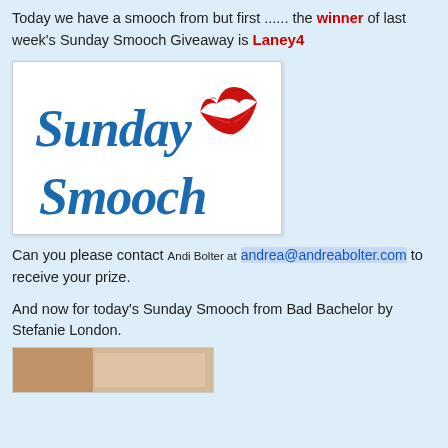Today we have a smooch from but first ...... the winner of last week's Sunday Smooch Giveaway is Laney4
[Figure (illustration): Sunday Smooch logo: blue cursive text reading 'Sunday Smooch' with a red lipstick kiss mark in the upper right]
Can you please contact Andi Bolter at andrea@andreabolter.com to receive your prize.
And now for today's Sunday Smooch from Bad Bachelor by Stefanie London.
[Figure (photo): Partial photo of book cover for Bad Bachelor]